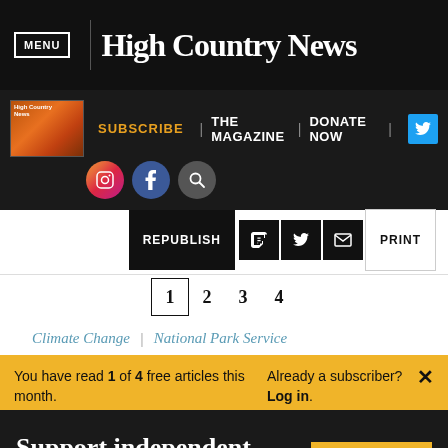MENU | High Country News
SUBSCRIBE | THE MAGAZINE | DONATE NOW
REPUBLISH | PRINT
1 2 3 4
Climate Change | National Park Service
You have read 1 of 4 free articles this month. Already a subscriber? Log in.
Support independent journalism. Subscribe